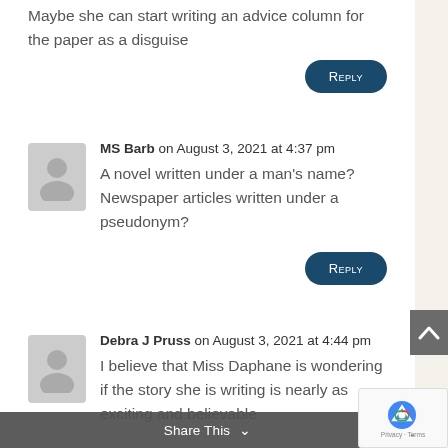Maybe she can start writing an advice column for the paper as a disguise
Reply
MS Barb on August 3, 2021 at 4:37 pm
A novel written under a man's name? Newspaper articles written under a pseudonym?
Reply
Debra J Pruss on August 3, 2021 at 4:44 pm
I believe that Miss Daphane is wondering if the story she is writing is nearly as exciting and believable
Share This